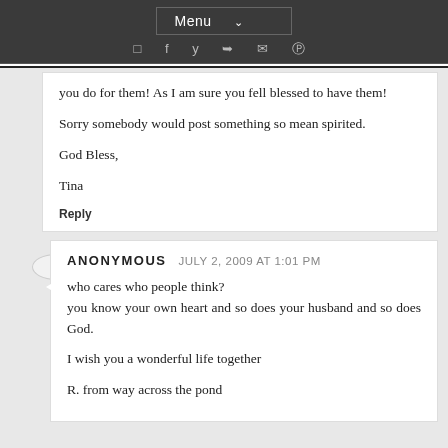Menu
you do for them! As I am sure you fell blessed to have them!

Sorry somebody would post something so mean spirited.

God Bless,

Tina
Reply
ANONYMOUS JULY 2, 2009 AT 1:01 PM
who cares who people think?
you know your own heart and so does your husband and so does God.

I wish you a wonderful life together

R. from way across the pond